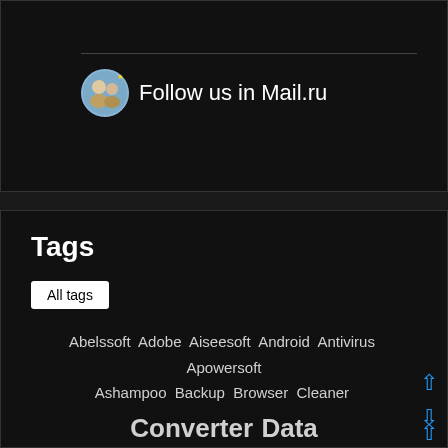[Figure (illustration): Follow us in Mail.ru banner with circular avatar icon showing two people]
Follow us in Mail.ru
Tags
All tags
Abelssoft Adobe Aiseesoft Android Antivirus Apowersoft Ashampoo Backup Browser Cleaner Converter Data Recovery Download drivers Driver updater DVD Edit photos Editor File manager File Recovery GiliSoft Image image editor Internet iPhone NCH Office Optimization Password manager PDF PDF Converter PDF Editor Phot Photo editor Player Portable Recover deleted files Recover files Recovery Registry cleaner RePack by D!akov RePack by KpoJluk Restore Screen Capture